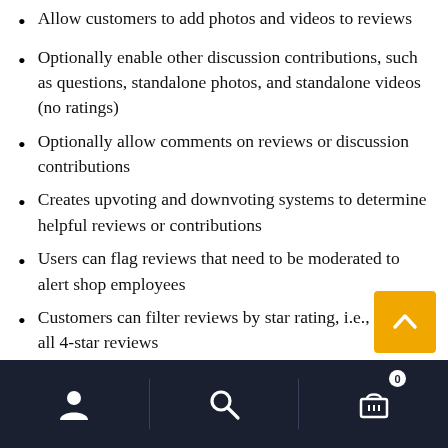Allow customers to add photos and videos to reviews
Optionally enable other discussion contributions, such as questions, standalone photos, and standalone videos (no ratings)
Optionally allow comments on reviews or discussion contributions
Creates upvoting and downvoting systems to determine helpful reviews or contributions
Users can flag reviews that need to be moderated to alert shop employees
Customers can filter reviews by star rating, i.e., show all 4-star reviews
Filtering options are added to show most helpful reviews, least helpful, review or contribution type,